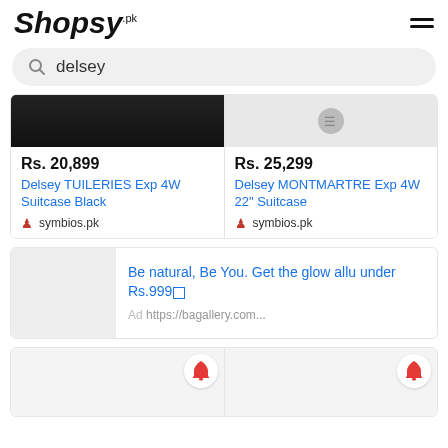Shopsy.pk
delsey
Rs. 20,899
Delsey TUILERIES Exp 4W Suitcase Black
symbios.pk
Rs. 25,299
Delsey MONTMARTRE Exp 4W 22" Suitcase
symbios.pk
Be natural, Be You. Get the glow allu under Rs.999🔲
Ad https://bagallery.com...
[Figure (screenshot): Two product cards at bottom with bell/alert icons]